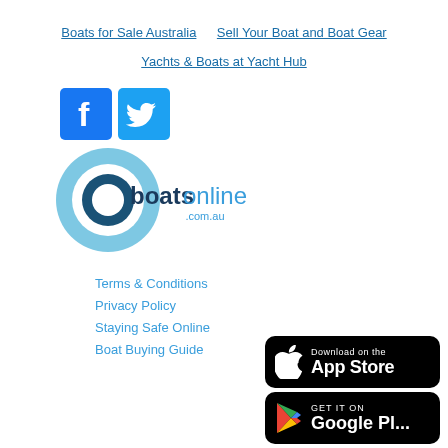Boats for Sale Australia
Sell Your Boat and Boat Gear
Yachts & Boats at Yacht Hub
[Figure (logo): Facebook logo icon (blue square with white F)]
[Figure (logo): Twitter logo icon (blue square with white bird)]
[Figure (logo): Boats Online logo — circle with 'boats online .com.au' text]
Terms & Conditions
Privacy Policy
Staying Safe Online
Boat Buying Guide
[Figure (logo): Download on the App Store button (black rounded rectangle with Apple logo)]
[Figure (logo): GET IT ON Google Play button (black rounded rectangle with Google Play triangle logo)]